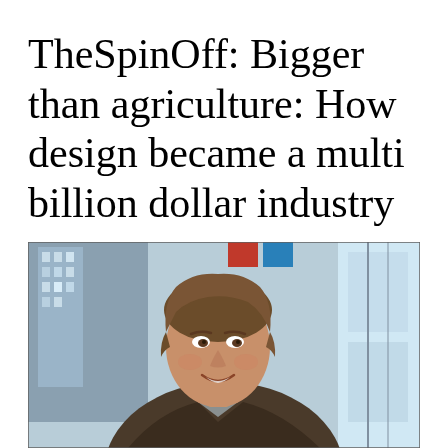TheSpinOff: Bigger than agriculture: How design became a multi billion dollar industry
[Figure (photo): A smiling middle-aged man with brown hair wearing a dark blazer and grey collared shirt, photographed outdoors in an urban environment with buildings and glass visible in the background.]